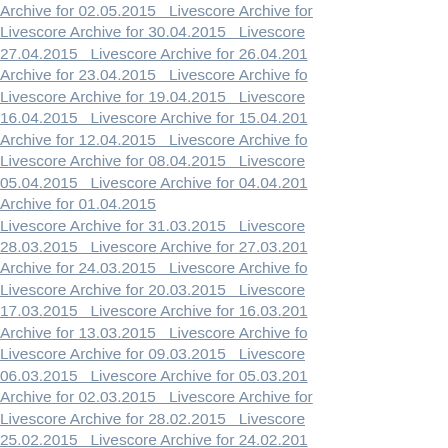Archive for 02.05.2015   Livescore Archive for 30.04.2015   Livescore Archive for 27.04.2015   Livescore Archive for 26.04.2015   Livescore Archive for 23.04.2015   Livescore Archive for 19.04.2015   Livescore Archive for 16.04.2015   Livescore Archive for 15.04.2015   Livescore Archive for 12.04.2015   Livescore Archive for 08.04.2015   Livescore Archive for 05.04.2015   Livescore Archive for 04.04.2015   Livescore Archive for 01.04.2015   Livescore Archive for 31.03.2015   Livescore Archive for 28.03.2015   Livescore Archive for 27.03.2015   Livescore Archive for 24.03.2015   Livescore Archive for 20.03.2015   Livescore Archive for 17.03.2015   Livescore Archive for 16.03.2015   Livescore Archive for 13.03.2015   Livescore Archive for 09.03.2015   Livescore Archive for 06.03.2015   Livescore Archive for 05.03.2015   Livescore Archive for 02.03.2015   Livescore Archive for 28.02.2015   Livescore Archive for 25.02.2015   Livescore Archive for 24.02.2015   Livescore Archive for 21.02.2015   Livescore Archive for 17.02.2015   Livescore Archive for 14.02.2015   Livescore Archive for 13.02.2015   Livescore Archive for 10.02.2015   Livescore Archive for 06.02.2015